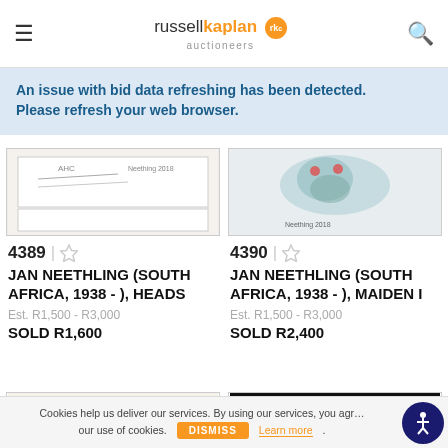russellkaplan auctioneers
An issue with bid data refreshing has been detected. Please refresh your web browser.
[Figure (photo): Artwork image for lot 4389 - JAN NEETHLING HEADS, partial view showing sketch lines]
4389 | ☆ JAN NEETHLING (SOUTH AFRICA, 1938 - ), HEADS
Est. R1,500 - R3,000
SOLD R1,600
[Figure (photo): Artwork image for lot 4390 - JAN NEETHLING MAIDEN I, watercolor face portrait with red accents]
4390 | ☆ JAN NEETHLING (SOUTH AFRICA, 1938 - ), MAIDEN I
Est. R1,500 - R3,000
SOLD R2,400
[Figure (photo): Bottom left artwork - leopard/cheetah on red background]
[Figure (photo): Bottom right artwork - colorful abstract objects on dark background]
Cookies help us deliver our services. By using our services, you agree to our use of cookies. DISMISS Learn more.